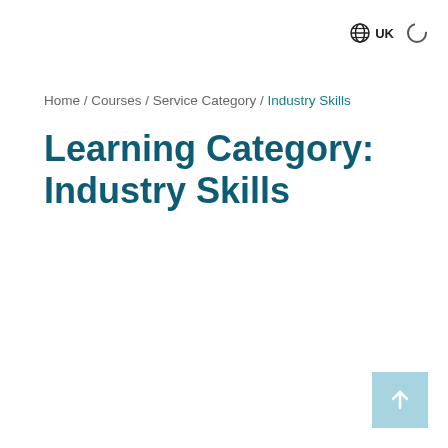UK
Home / Courses / Service Category / Industry Skills
Learning Category: Industry Skills